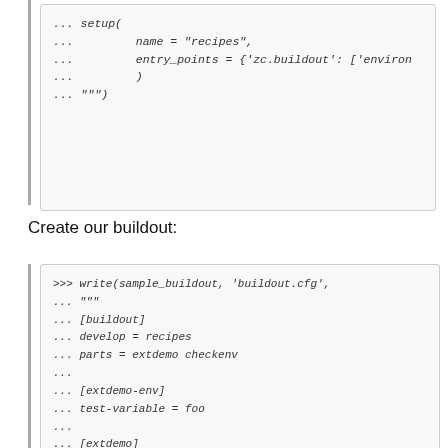... setup(
...         name = "recipes",
...         entry_points = {'zc.buildout': ['environ
...         )
... """)
Create our buildout:
>>> write(sample_buildout, 'buildout.cfg',
... """
... [buildout]
... develop = recipes
... parts = extdemo checkenv
... 
... [extdemo-env]
... test-variable = foo
...
... [extdemo]
... recipe = zc.recipe.egg:custom
... find-links = %(server)s
... index = %(server)s/index